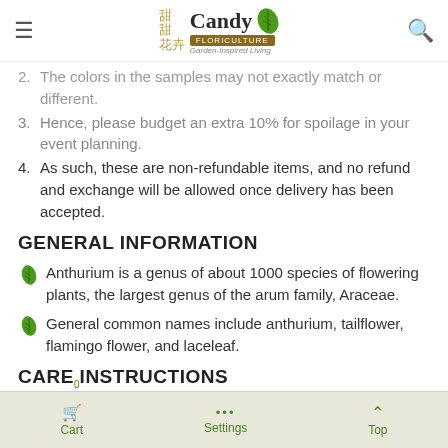Candy Floriculture — Garden-Inspired Living
2. The colors in the samples may not exactly match or different.
3. Hence, please budget an extra 10% for spoilage in your event planning.
4. As such, these are non-refundable items, and no refund and exchange will be allowed once delivery has been accepted.
GENERAL INFORMATION
Anthurium is a genus of about 1000 species of flowering plants, the largest genus of the arum family, Araceae.
General common names include anthurium, tailflower, flamingo flower, and laceleaf.
CARE INSTRUCTIONS
Cut stems 45 degrees diagonally with a sharp
Cart  Settings  Top